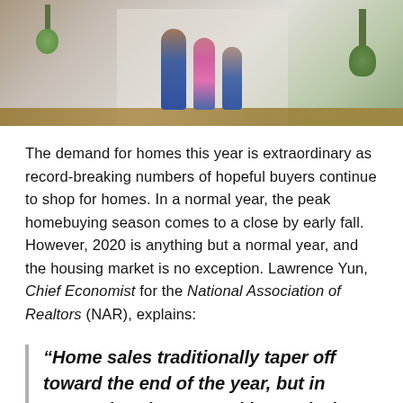[Figure (photo): Photo of people (homebuyers/family) standing in a doorway of a home, viewed from inside, with plants visible in the background.]
The demand for homes this year is extraordinary as record-breaking numbers of hopeful buyers continue to shop for homes. In a normal year, the peak homebuying season comes to a close by early fall. However, 2020 is anything but a normal year, and the housing market is no exception. Lawrence Yun, Chief Economist for the National Association of Realtors (NAR), explains:
“Home sales traditionally taper off toward the end of the year, but in September they surged beyond what we normally see during this season…I would attribute this jump